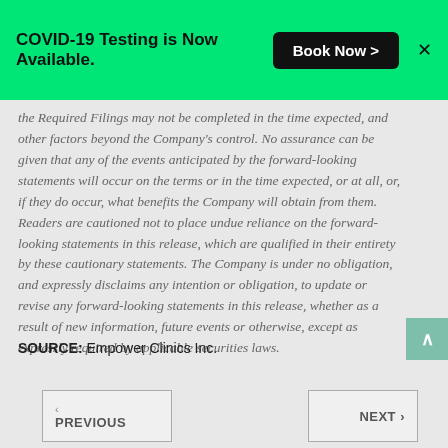COVID-19 Testing is Now Available. Book Now >
the Required Filings may not be completed in the time expected, and other factors beyond the Company's control. No assurance can be given that any of the events anticipated by the forward-looking statements will occur on the terms or in the time expected, or at all, or, if they do occur, what benefits the Company will obtain from them. Readers are cautioned not to place undue reliance on the forward-looking statements in this release, which are qualified in their entirety by these cautionary statements. The Company is under no obligation, and expressly disclaims any intention or obligation, to update or revise any forward-looking statements in this release, whether as a result of new information, future events or otherwise, except as expressly required by applicable securities laws.
SOURCE: Empower Clinics Inc.
‹ PREVIOUS  NEXT ›